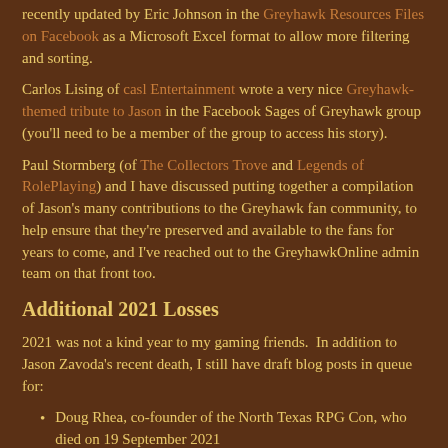recently updated by Eric Johnson in the Greyhawk Resources Files on Facebook as a Microsoft Excel format to allow more filtering and sorting.
Carlos Lising of casl Entertainment wrote a very nice Greyhawk-themed tribute to Jason in the Facebook Sages of Greyhawk group (you'll need to be a member of the group to access his story).
Paul Stormberg (of The Collectors Trove and Legends of RolePlaying) and I have discussed putting together a compilation of Jason's many contributions to the Greyhawk fan community, to help ensure that they're preserved and available to the fans for years to come, and I've reached out to the GreyhawkOnline admin team on that front too.
Additional 2021 Losses
2021 was not a kind year to my gaming friends.  In addition to Jason Zavoda's recent death, I still have draft blog posts in queue for:
Doug Rhea, co-founder of the North Texas RPG Con, who died on 19 September 2021